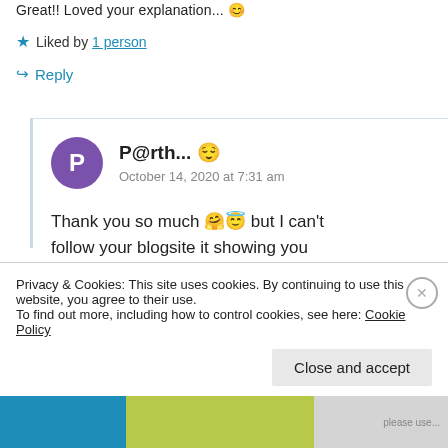Great!! Loved your explanation...😊
★ Liked by 1 person
↪ Reply
P@rth... 😊
October 14, 2020 at 7:31 am
Thank you so much 🤗😇 but I can't follow your blogsite it showing you
Privacy & Cookies: This site uses cookies. By continuing to use this website, you agree to their use.
To find out more, including how to control cookies, see here: Cookie Policy
Close and accept